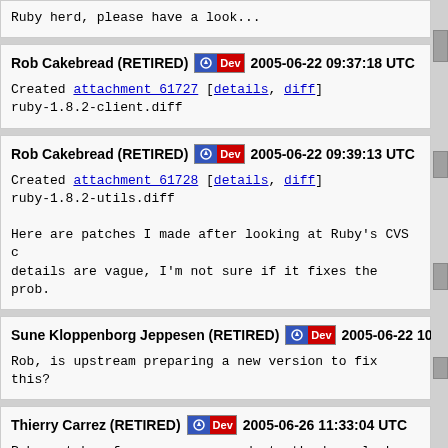Ruby herd, please have a look...
Rob Cakebread (RETIRED) 2005-06-22 09:37:18 UTC
Created attachment 61727 [details, diff]
ruby-1.8.2-client.diff
Rob Cakebread (RETIRED) 2005-06-22 09:39:13 UTC
Created attachment 61728 [details, diff]
ruby-1.8.2-utils.diff
Here are patches I made after looking at Ruby's CVS changes. The bug details are vague, I'm not sure if it fixes the prob.
Sune Kloppenborg Jeppesen (RETIRED) 2005-06-22 10:25:56 UTC
Rob, is upstream preparing a new version to fix this?
Thierry Carrez (RETIRED) 2005-06-26 11:33:04 UTC
Rob: patch reference corresponds to the bug, looks ok, go with the patch, since apparently upstream is in no hurry to release a new version for that.